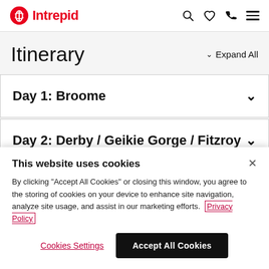Intrepid [logo] [search] [heart] [phone] [menu]
Itinerary
Expand All
Day 1: Broome
Day 2: Derby / Geikie Gorge / Fitzroy
This website uses cookies
By clicking "Accept All Cookies" or closing this window, you agree to the storing of cookies on your device to enhance site navigation, analyze site usage, and assist in our marketing efforts. Privacy Policy
Cookies Settings | Accept All Cookies